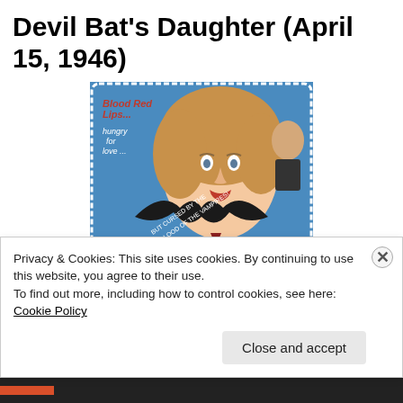Devil Bat's Daughter (April 15, 1946)
[Figure (photo): Movie poster for 'Devil Bat's Daughter' (1946) showing a glamorous blonde woman with red lips, a bat silhouette, and smaller figures. Text on poster reads 'Blood Red Lips... hungry for love...' and 'But cursed by the blood of the vampires!' and 'DEVIL BAT'S DAUGHTER' in yellow lettering.]
Privacy & Cookies: This site uses cookies. By continuing to use this website, you agree to their use.
To find out more, including how to control cookies, see here: Cookie Policy
Close and accept